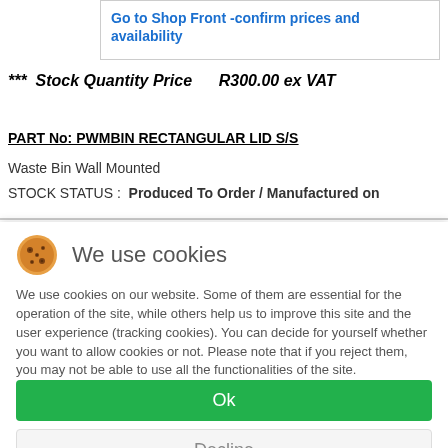Go to Shop Front -confirm prices and availability
*** Stock Quantity Price     R300.00 ex VAT
PART No:  PWMBIN RECTANGULAR LID S/S
Waste Bin Wall Mounted
STOCK STATUS :   Produced To Order / Manufactured on
We use cookies
We use cookies on our website. Some of them are essential for the operation of the site, while others help us to improve this site and the user experience (tracking cookies). You can decide for yourself whether you want to allow cookies or not. Please note that if you reject them, you may not be able to use all the functionalities of the site.
Ok
Decline